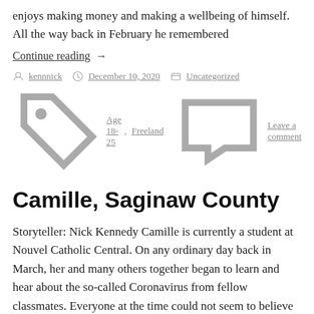enjoys making money and making a wellbeing of himself. All the way back in February he remembered
Continue reading  →
By kennnick   December 10, 2020   Uncategorized
Age 18-25, Freeland   Leave a comment
Camille, Saginaw County
Storyteller: Nick Kennedy Camille is currently a student at Nouvel Catholic Central. On any ordinary day back in March, her and many others together began to learn and hear about the so-called Coronavirus from fellow classmates. Everyone at the time could not seem to believe what was occurring in the world as schools and